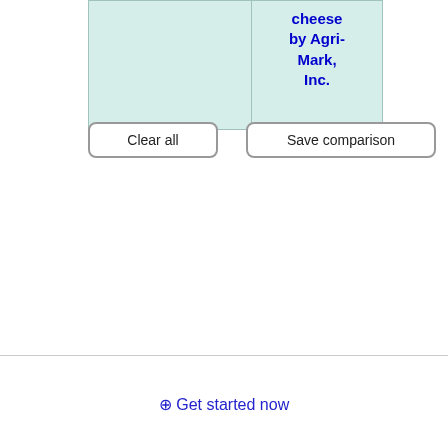|  | cheese by Agri-Mark, Inc. |
Clear all
Save comparison
⊕ Get started now